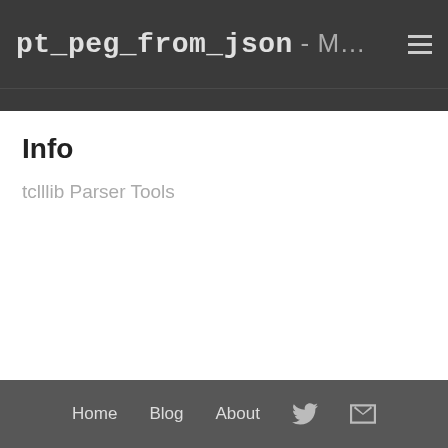pt_peg_from_json - M…
Info
tclllib Parser Tools
Home  Blog  About